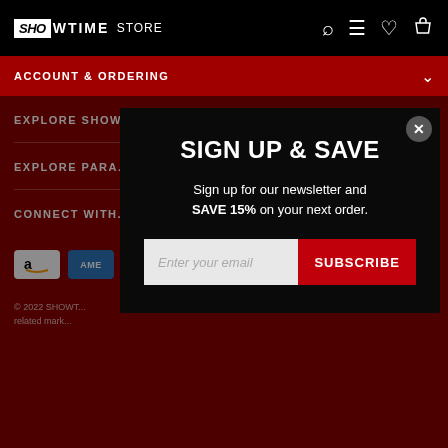SHOWTIME STORE
ACCOUNT & ORDERING
EXPLORE SHOW...
EXPLORE PARA...
CONNECT WITH...
[Figure (screenshot): Amazon and Amex payment icons]
SIGN UP & SAVE
Sign up for our newsletter and SAVE 15% on your next order.
Enter your email | SUBSCRIBE
© 2022 SHOWTIME... related mark...